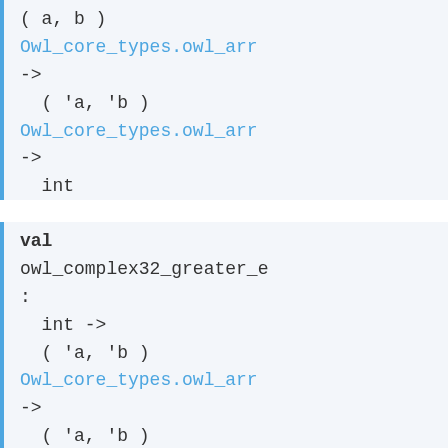( a, b )
Owl_core_types.owl_arr
->
  ( 'a, 'b )
Owl_core_types.owl_arr
->
  int
val owl_complex32_greater_e
:
  int ->
  ( 'a, 'b )
Owl_core_types.owl_arr
->
  ( 'a, 'b )
Owl_core_types.owl_arr
->
  int